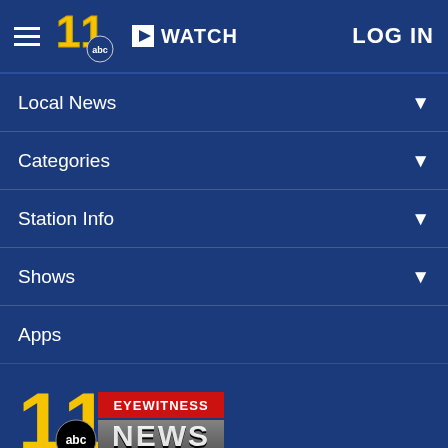WATCH  LOG IN
Local News
Categories
Station Info
Shows
Apps
[Figure (logo): ABC 11 Eyewitness News logo with number 11 in yellow and red/black NEWS banner]
Follow Us:
Privacy Policy  Do Not Sell My Personal Information  Children's Privacy Policy